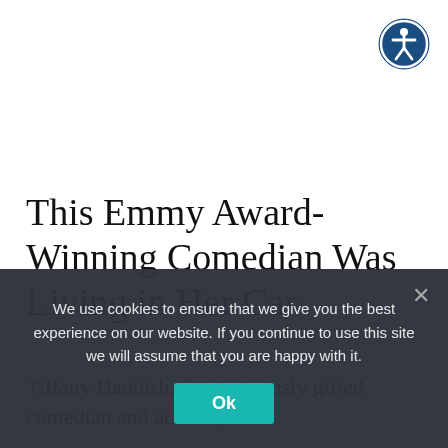[Figure (logo): Circular accessibility icon: dark blue circle with white human figure inside, outlined in white]
This Emmy Award-Winning Comedian Was Living in Her Car
Tiffany Haddish, the hilariously gifted comedian and actress,
We use cookies to ensure that we give you the best experience on our website. If you continue to use this site we will assume that you are happy with it.
Ok